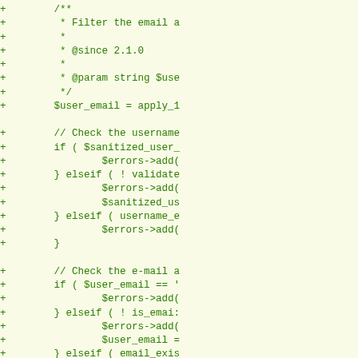[Figure (screenshot): Code diff view showing PHP code additions (marked with + in green) including a doc comment block with @since and @param tags, $user_email = apply_filters call, username validation with if/elseif blocks using $sanitized_user_ and $errors->add calls, email validation block with if/elseif checking is_email and email_exists, and the start of another /** docblock with 'Fires when submitted']